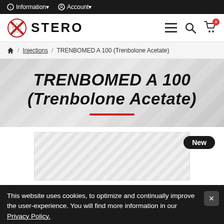Information ▾   Account ▾
[Figure (logo): STERO website logo with red X icon]
🏠 / Injections / TRENBOMED A 100 (Trenbolone Acetate)
TRENBOMED A 100 (Trenbolone Acetate)
[Figure (photo): Product image area for TRENBOMED A 100 with 'New' badge]
This website uses cookies, to optimize and continually improve the user-experience. You will find more information in our Privacy Policy.